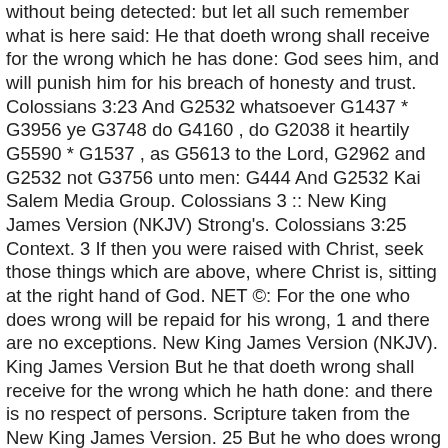without being detected: but let all such remember what is here said: He that doeth wrong shall receive for the wrong which he has done: God sees him, and will punish him for his breach of honesty and trust. Colossians 3:23 And G2532 whatsoever G1437 * G3956 ye G3748 do G4160 , do G2038 it heartily G5590 * G1537 , as G5613 to the Lord, G2962 and G2532 not G3756 unto men: G444 And G2532 Kai Salem Media Group. Colossians 3 :: New King James Version (NKJV) Strong's. Colossians 3:25 Context. 3 If then you were raised with Christ, seek those things which are above, where Christ is, sitting at the right hand of God. NET ©: For the one who does wrong will be repaid for his wrong, 1 and there are no exceptions. New King James Version (NKJV). King James Version But he that doeth wrong shall receive for the wrong which he hath done: and there is no respect of persons. Scripture taken from the New King James Version. 25 But he who does wrong will be repaid for